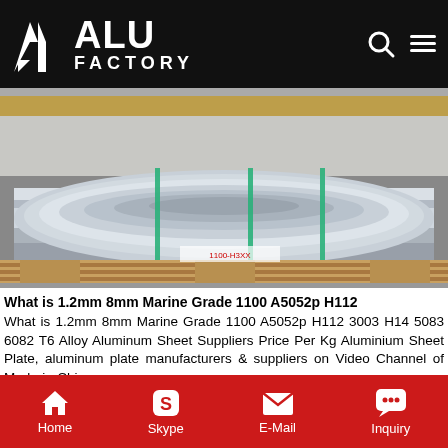ALU FACTORY
[Figure (photo): Large aluminum coil roll on wooden pallet in a factory warehouse. The coil is silver/metallic with green strapping bands. Label reads 1100-H3XX.]
What is 1.2mm 8mm Marine Grade 1100 A5052p H112
What is 1.2mm 8mm Marine Grade 1100 A5052p H112 3003 H14 5083 6082 T6 Alloy Aluminum Sheet Suppliers Price Per Kg Aluminium Sheet Plate, aluminum plate manufacturers & suppliers on Video Channel of Made-in-China.com.
Get Price
[Figure (photo): Stacked aluminum sheets/plates wrapped in brown paper with green and yellow tape on edges, stored in warehouse.]
Home  Skype  E-Mail  Inquiry